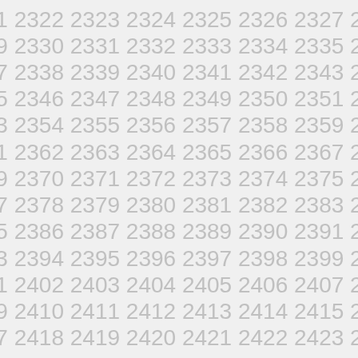2321 2322 2323 2324 2325 2326 2327 2328
2329 2330 2331 2332 2333 2334 2335 2336
2337 2338 2339 2340 2341 2342 2343 2344
2345 2346 2347 2348 2349 2350 2351 2352
2353 2354 2355 2356 2357 2358 2359 2360
2361 2362 2363 2364 2365 2366 2367 2368
2369 2370 2371 2372 2373 2374 2375 2376
2377 2378 2379 2380 2381 2382 2383 2384
2385 2386 2387 2388 2389 2390 2391 2392
2393 2394 2395 2396 2397 2398 2399 2400
2401 2402 2403 2404 2405 2406 2407 2408
2409 2410 2411 2412 2413 2414 2415 2416
2417 2418 2419 2420 2421 2422 2423 2424